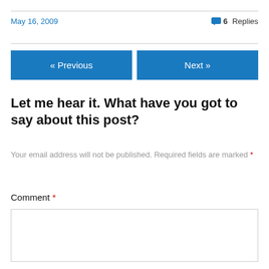May 16, 2009
6 Replies
« Previous
Next »
Let me hear it. What have you got to say about this post?
Your email address will not be published. Required fields are marked *
Comment *